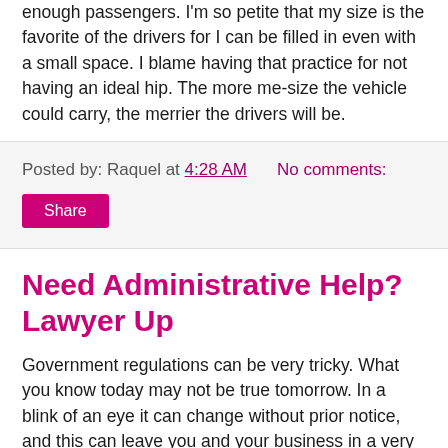enough passengers. I'm so petite that my size is the favorite of the drivers for I can be filled in even with a small space. I blame having that practice for not having an ideal hip. The more me-size the vehicle could carry, the merrier the drivers will be.
Posted by: Raquel at 4:28 AM     No comments:
Share
Need Administrative Help? Lawyer Up
Government regulations can be very tricky. What you know today may not be true tomorrow. In a blink of an eye it can change without prior notice, and this can leave you and your business in a very bad state. Sometimes, you will not be permitted to continue your operations, and in this cases you need to lawyer up.
Getting the help of administrative lawyers does not mean that you are going to battle the government, it just a good